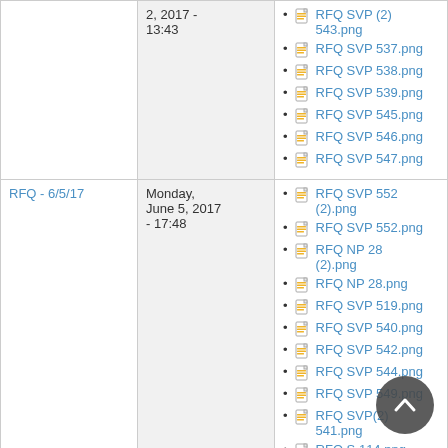|  | Date | Attachments |
| --- | --- | --- |
|  | 2, 2017 - 13:43 | RFQ SVP (2) 543.png, RFQ SVP 537.png, RFQ SVP 538.png, RFQ SVP 539.png, RFQ SVP 545.png, RFQ SVP 546.png, RFQ SVP 547.png |
| RFQ - 6/5/17 | Monday, June 5, 2017 - 17:48 | RFQ SVP 552 (2).png, RFQ SVP 552.png, RFQ NP 28 (2).png, RFQ NP 28.png, RFQ SVP 519.png, RFQ SVP 540.png, RFQ SVP 542.png, RFQ SVP 544.png, RFQ SVP 549.png, RFQ SVP(2) 541.png, RFQ S 114.png |